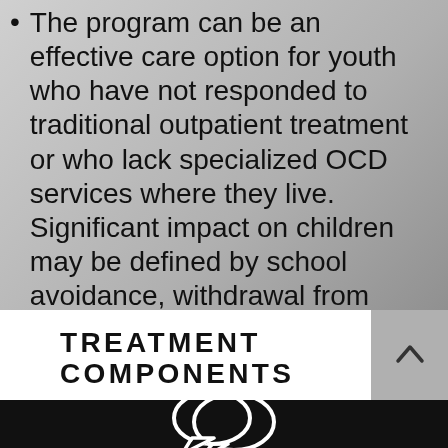The program can be an effective care option for youth who have not responded to traditional outpatient treatment or who lack specialized OCD services where they live. Significant impact on children may be defined by school avoidance, withdrawal from family/friends, loss of interest in previously enjoyed activities, and problems eating, sleeping, and bathing.
TREATMENT COMPONENTS
[Figure (illustration): White speech bubble / chat icon illustration on black background]